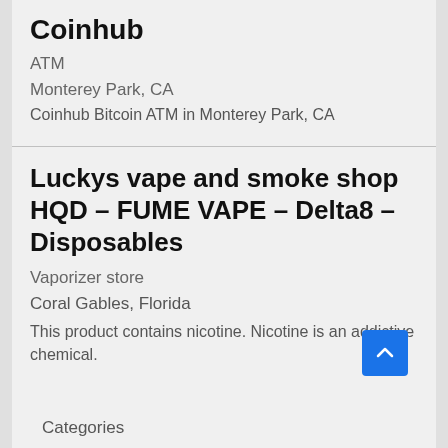Coinhub
ATM
Monterey Park, CA
Coinhub Bitcoin ATM in Monterey Park, CA
Luckys vape and smoke shop HQD – FUME VAPE – Delta8 – Disposables
Vaporizer store
Coral Gables, Florida
This product contains nicotine. Nicotine is an addictive chemical.
Categories